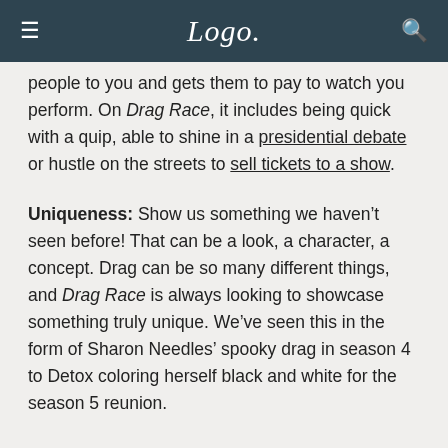Logo.
people to you and gets them to pay to watch you perform. On Drag Race, it includes being quick with a quip, able to shine in a presidential debate or hustle on the streets to sell tickets to a show.
Uniqueness: Show us something we haven’t seen before! That can be a look, a character, a concept. Drag can be so many different things, and Drag Race is always looking to showcase something truly unique. We’ve seen this in the form of Sharon Needles’ spooky drag in season 4 to Detox coloring herself black and white for the season 5 reunion.
Nerve: Drag queens never got anywhere by playing it safe. The boundaries of good taste simply don’t exist, so whether you’re clucking like a chicken in a commercial